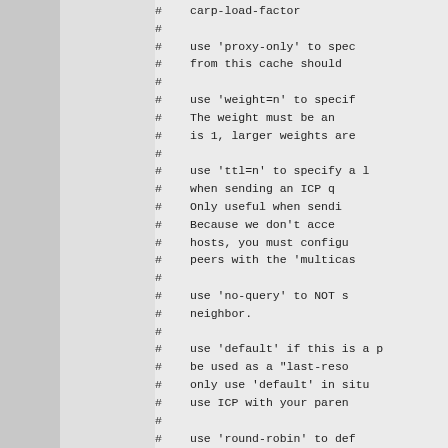# carp-load-factor
#
# use 'proxy-only' to spec
# from this cache should
#
# use 'weight=n' to specif
# The weight must be an
# is 1, larger weights are
#
# use 'ttl=n' to specify a l
# when sending an ICP q
# Only useful when sendi
# Because we don't acce
# hosts, you must configu
# peers with the 'multicas
#
# use 'no-query' to NOT s
# neighbor.
#
# use 'default' if this is a p
# be used as a "last-reso
# only use 'default' in situ
# use ICP with your paren
#
# use 'round-robin' to def
# should be used in a ro